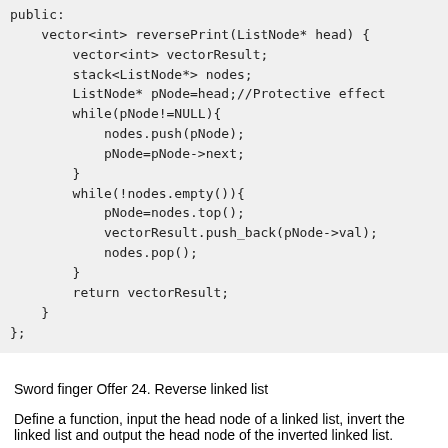[Figure (screenshot): Code snippet showing a C++ class with a reversePrint method that uses a stack to reverse a linked list]
Sword finger Offer 24. Reverse linked list
Define a function, input the head node of a linked list, invert the linked list and output the head node of the inverted linked list.
Example: